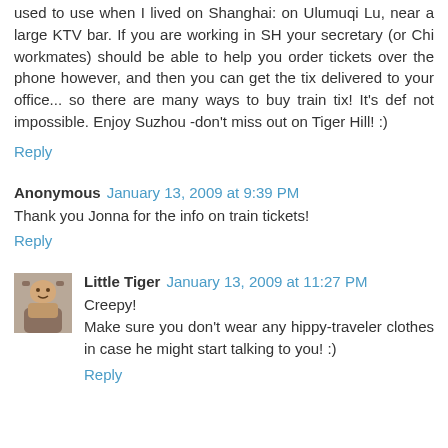used to use when I lived on Shanghai: on Ulumuqi Lu, near a large KTV bar. If you are working in SH your secretary (or Chi workmates) should be able to help you order tickets over the phone however, and then you can get the tix delivered to your office... so there are many ways to buy train tix! It's def not impossible. Enjoy Suzhou -don't miss out on Tiger Hill! :)
Reply
Anonymous  January 13, 2009 at 9:39 PM
Thank you Jonna for the info on train tickets!
Reply
[Figure (photo): Small avatar photo of Little Tiger commenter]
Little Tiger  January 13, 2009 at 11:27 PM
Creepy!
Make sure you don't wear any hippy-traveler clothes in case he might start talking to you! :)
Reply